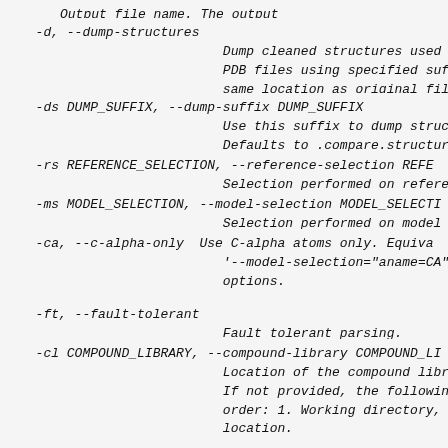Output file name. The output
-d, --dump-structures
                        Dump cleaned structures used t
                        PDB files using specified suf
                        same location as original fil
-ds DUMP_SUFFIX, --dump-suffix DUMP_SUFFIX
                        Use this suffix to dump struc
                        Defaults to .compare.structur
-rs REFERENCE_SELECTION, --reference-selection REFE
                        Selection performed on refere
-ms MODEL_SELECTION, --model-selection MODEL_SELECTI
                        Selection performed on model s
-ca, --c-alpha-only  Use C-alpha atoms only. Equiv
                        '--model-selection="aname=CA"
                        options.
-ft, --fault-tolerant
                        Fault tolerant parsing.
-cl COMPOUND_LIBRARY, --compound-library COMPOUND_LI
                        Location of the compound libra
                        If not provided, the following
                        order: 1. Working directory, 2
                        location.
molecular check arguments:
-ml, --molck           Run molecular checker to clea
-rm REMOVE [REMOVE ...], --remove REMOVE [REMOVE ...